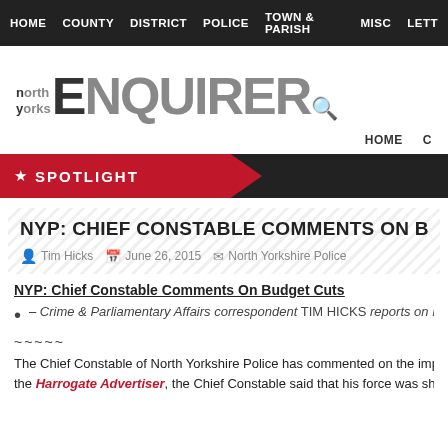HOME   COUNTY   DISTRICT   POLICE   TOWN & PARISH   MISC   LETT
north yorks ENQUIRER
HOME   C
★ SPOTLIGHT
NYP: CHIEF CONSTABLE COMMENTS ON BUDGET CU
Tim Hicks   June 26, 2015   North Yorkshire Police
NYP: Chief Constable Comments On Budget Cuts
– Crime & Parliamentary Affairs correspondent TIM HICKS reports on Nor
~~~~~
The Chief Constable of North Yorkshire Police has commented on the impact o the Harrogate Advertiser, the Chief Constable said that his force was shifting